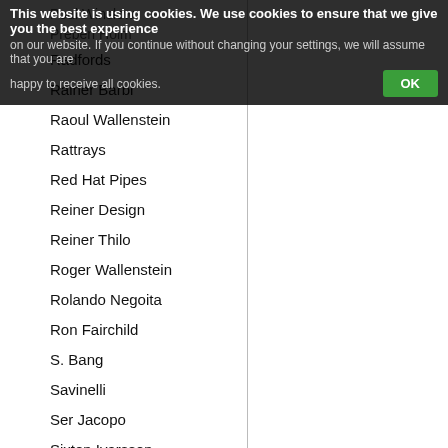This website is using cookies. We use cookies to ensure that we give you the best experience on our website. If you continue without changing your settings, we will assume that you are happy to receive all cookies. OK
Poul Winslow
Preben Holm
Radfords
Rainer Barbi
Raoul Wallenstein
Rattrays
Red Hat Pipes
Reiner Design
Reiner Thilo
Roger Wallenstein
Rolando Negoita
Ron Fairchild
S. Bang
Savinelli
Ser Jacopo
Sixten Ivarsson
Stanwell
Stefano
Svendborg
Talamona
TAO
Tom Eltang